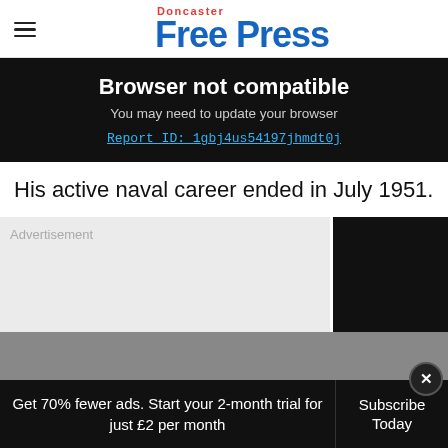Doncaster Free Press
Browser not compatible
You may need to update your browser
Report ID: 1gbj4us54197jhmdt0j
His active naval career ended in July 1951.
[Figure (other): Advertisement placeholder area with gray background and black box to the right]
Get 70% fewer ads. Start your 2-month trial for just £2 per month
Subscribe Today